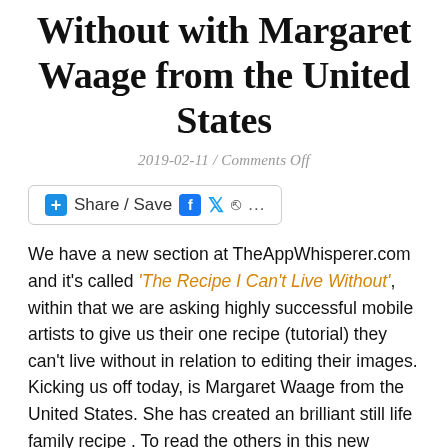Without with Margaret Waage from the United States
2019-02-11 / Comments Off
[Figure (other): Share / Save button bar with Facebook, Twitter and share icons]
We have a new section at TheAppWhisperer.com and it's called 'The Recipe I Can't Live Without', within that we are asking highly successful mobile artists to give us their one recipe (tutorial) they can't live without in relation to editing their images. Kicking us off today, is Margaret Waage from the United States. She has created an brilliant still life family recipe . To read the others in this new series, please go here. (foreword by Joanne Carter)